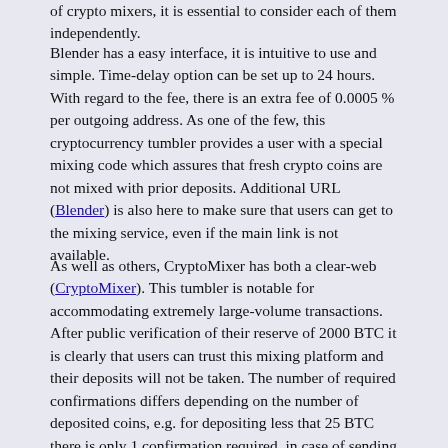of crypto mixers, it is essential to consider each of them independently.
Blender has a easy interface, it is intuitive to use and simple. Time-delay option can be set up to 24 hours. With regard to the fee, there is an extra fee of 0.0005 % per outgoing address. As one of the few, this cryptocurrency tumbler provides a user with a special mixing code which assures that fresh crypto coins are not mixed with prior deposits. Additional URL (Blender) is also here to make sure that users can get to the mixing service, even if the main link is not available.
As well as others, CryptoMixer has both a clear-web (CryptoMixer). This tumbler is notable for accommodating extremely large-volume transactions. After public verification of their reserve of 2000 BTC it is clearly that users can trust this mixing platform and their deposits will not be taken. The number of required confirmations differs depending on the number of deposited coins, e.g. for depositing less that 25 BTC there is only 1 confirmation required, in case of sending more than 1000 BTC a user needs to gather 5 confirmations.